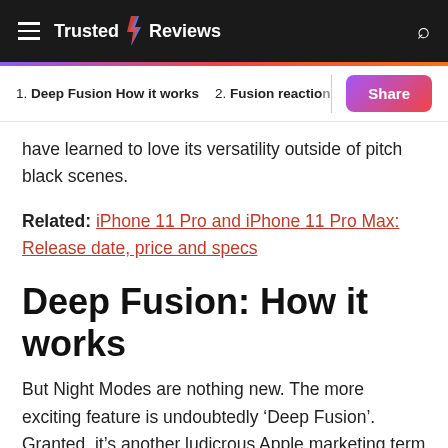Trusted Reviews
1. Deep Fusion How it works   2. Fusion reaction   Share
have learned to love its versatility outside of pitch black scenes.
Related: iPhone 11 Pro and iPhone 11 Pro Max: Release date, price and specs
Deep Fusion: How it works
But Night Modes are nothing new. The more exciting feature is undoubtedly ‘Deep Fusion’. Granted, it’s another ludicrous Apple marketing term to file alongside Retina displays, and will only be available with a later firmware update. Apple’s (relatively sparse) description of how it works, though, does suggest it could yet help iPhones at